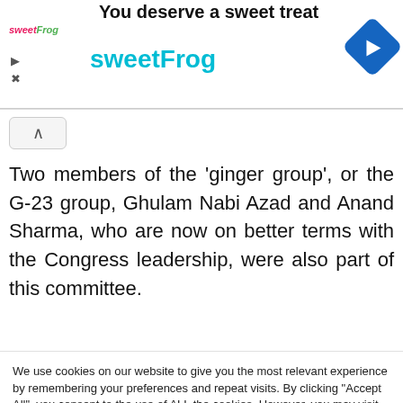[Figure (screenshot): sweetFrog advertisement banner with logo, play/close controls, brand name in cyan, and blue directional arrow icon]
Two members of the 'ginger group', or the G-23 group, Ghulam Nabi Azad and Anand Sharma, who are now on better terms with the Congress leadership, were also part of this committee.
Sonia Gandhi, at the Shivir, had clarified that
We use cookies on our website to give you the most relevant experience by remembering your preferences and repeat visits. By clicking "Accept All", you consent to the use of ALL the cookies. However, you may visit "Cookie Settings" to provide a controlled consent.